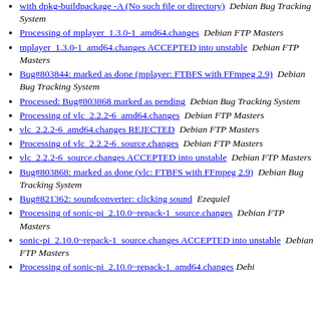with dpkg-buildpackage -A (No such file or directory)  Debian Bug Tracking System
Processing of mplayer_1.3.0-1_amd64.changes  Debian FTP Masters
mplayer_1.3.0-1_amd64.changes ACCEPTED into unstable  Debian FTP Masters
Bug#803844: marked as done (mplayer: FTBFS with FFmpeg 2.9)  Debian Bug Tracking System
Processed: Bug#803868 marked as pending  Debian Bug Tracking System
Processing of vlc_2.2.2-6_amd64.changes  Debian FTP Masters
vlc_2.2.2-6_amd64.changes REJECTED  Debian FTP Masters
Processing of vlc_2.2.2-6_source.changes  Debian FTP Masters
vlc_2.2.2-6_source.changes ACCEPTED into unstable  Debian FTP Masters
Bug#803868: marked as done (vlc: FTBFS with FFmpeg 2.9)  Debian Bug Tracking System
Bug#821362: soundconverter: clicking sound  Ezequiel
Processing of sonic-pi_2.10.0~repack-1_source.changes  Debian FTP Masters
sonic-pi_2.10.0~repack-1_source.changes ACCEPTED into unstable  Debian FTP Masters
Processing of sonic-pi_2.10.0~repack-1_amd64.changes  Debian ...